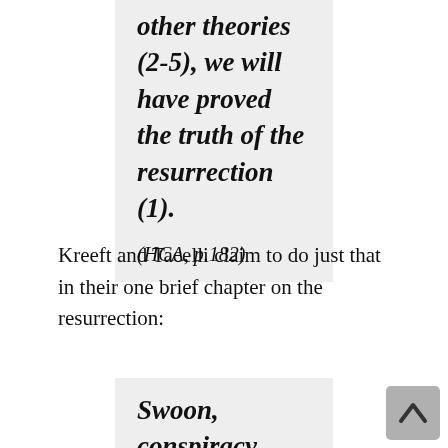other theories (2-5), we will have proved the truth of the resurrection (1).

(HCA, p.182)
Kreeft and Tacelli claim to do just that in their one brief chapter on the resurrection:
Swoon, conspiracy, hallucination, and